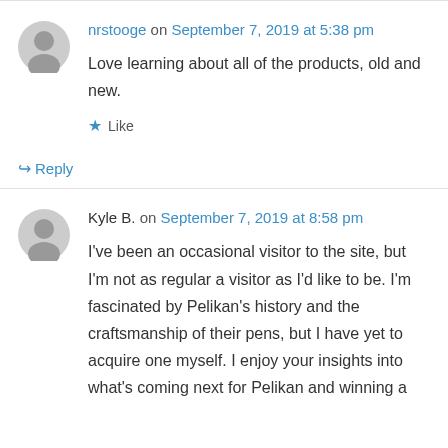nrstooge on September 7, 2019 at 5:38 pm
Love learning about all of the products, old and new.
Like
Reply
Kyle B. on September 7, 2019 at 8:58 pm
I've been an occasional visitor to the site, but I'm not as regular a visitor as I'd like to be. I'm fascinated by Pelikan's history and the craftsmanship of their pens, but I have yet to acquire one myself. I enjoy your insights into what's coming next for Pelikan and winning a